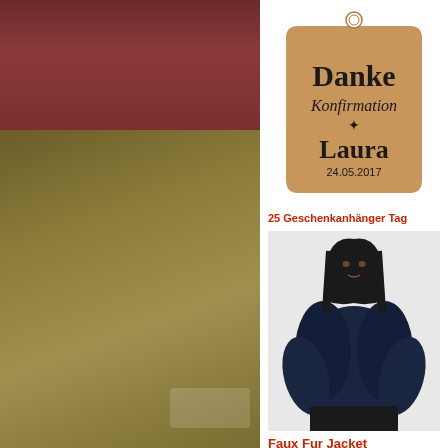[Figure (photo): Left panel: top portion shows dark reddish-brown textured surface (leather or fabric), bottom portion shows golden-brown textured surface with slight sheen, small wrapped plastic item visible at bottom right corner]
[Figure (illustration): Gift tag shape in tan/kraft paper color with hole at top. Text reads: Danke, Konfirmation, fish symbol, Laura, 24.05.2017]
25 Geschenkanhänger Tag
[Figure (photo): Young girl with long dark hair wearing a navy blue faux fur jacket/shawl over dark outfit, posed against light background]
Faux Fur Jacket
[Figure (logo): Columbus Discover Nature logo - text Columbus with leaf replacing the letter o, subtitle DISCOVER NATURE]